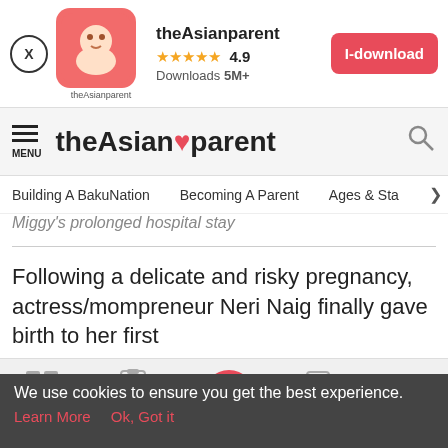[Figure (screenshot): App advertisement banner for theAsianparent with app icon, star rating 4.9, 5M+ downloads, and I-download button]
theAsianparent — MENU nav bar with search icon
Building A BakuNation   Becoming A Parent   Ages & Sta>
Miggy's prolonged hospital stay
Following a delicate and risky pregnancy, actress/mompreneur Neri Naig finally gave birth to her first
[Figure (screenshot): Bottom navigation bar with Tools, Articles, Home (pink circle with pregnant woman icon), Feed, Poll]
We use cookies to ensure you get the best experience. Learn More   Ok, Got it